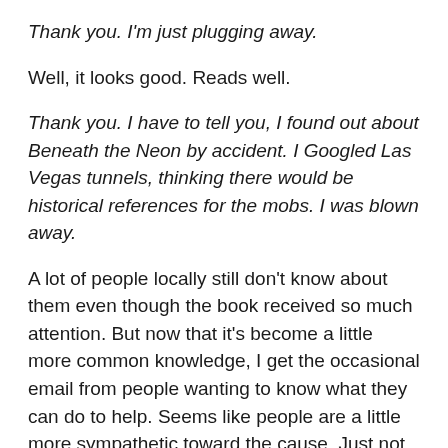Thank you. I'm just plugging away.
Well, it looks good. Reads well.
Thank you. I have to tell you, I found out about Beneath the Neon by accident. I Googled Las Vegas tunnels, thinking there would be historical references for the mobs. I was blown away.
A lot of people locally still don't know about them even though the book received so much attention. But now that it's become a little more common knowledge, I get the occasional email from people wanting to know what they can do to help. Seems like people are a little more sympathetic toward the cause. Just not a lot of people understand this is going on in Vegas.
I know the Vegas housing market has gone down in recent